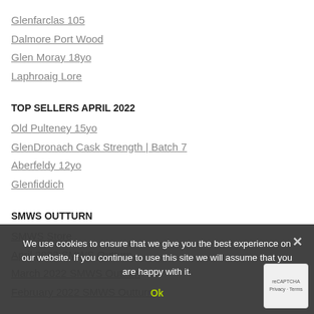Glenfarclas 105
Dalmore Port Wood
Glen Moray 18yo
Laphroaig Lore
TOP SELLERS APRIL 2022
Old Pulteney 15yo
GlenDronach Cask Strength | Batch 7
Aberfeldy 12yo
Glenfiddich
SMWS OUTTURN
SMWS Store
April 2022 SMWS Outturn
March 2022 SMWS Outturn
February 2022 SMWS Outturn
We use cookies to ensure that we give you the best experience on our website. If you continue to use this site we will assume that you are happy with it.
Ok